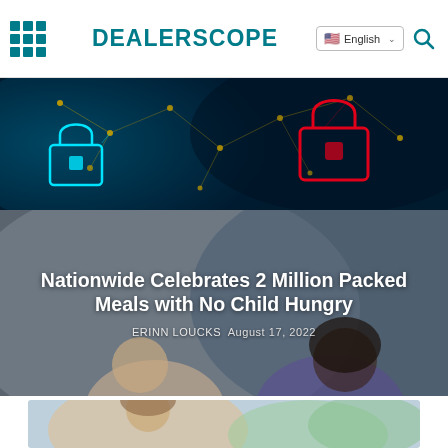DEALERSCOPE
[Figure (photo): Cybersecurity themed hero image with blue digital network lock icons]
[Figure (photo): Two children with article title overlay: Nationwide Celebrates 2 Million Packed Meals with No Child Hungry, by ERINN LOUCKS, August 17, 2022]
Nationwide Celebrates 2 Million Packed Meals with No Child Hungry
ERINN LOUCKS  August 17, 2022
[Figure (photo): Photo of a young woman looking down, partial view]